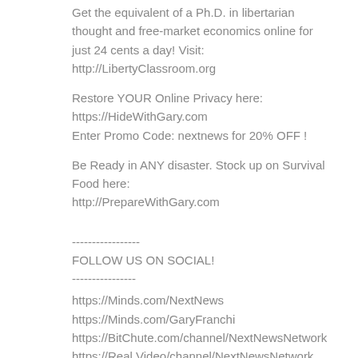Get the equivalent of a Ph.D. in libertarian thought and free-market economics online for just 24 cents a day! Visit: http://LibertyClassroom.org
Restore YOUR Online Privacy here:
https://HideWithGary.com
Enter Promo Code: nextnews for 20% OFF !
Be Ready in ANY disaster. Stock up on Survival Food here:
http://PrepareWithGary.com
-----------------.
FOLLOW US ON SOCIAL!
----------------
https://Minds.com/NextNews
https://Minds.com/GaryFranchi
https://BitChute.com/channel/NextNewsNetwork
https://Real.Video/channel/NextNewsNetwork